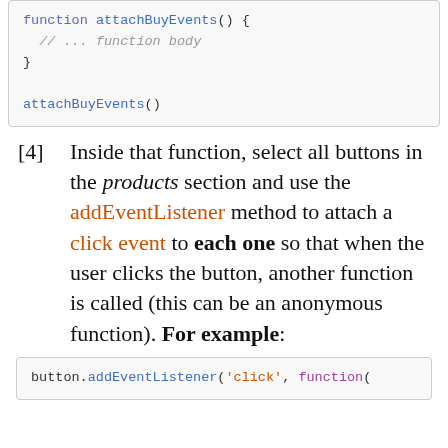[Figure (screenshot): Code block showing: function attachBuyEvents() { // ... function body } followed by attachBuyEvents() call]
[4] Inside that function, select all buttons in the products section and use the addEventListener method to attach a click event to each one so that when the user clicks the button, another function is called (this can be an anonymous function). For example:
[Figure (screenshot): Code block showing: button.addEventListener('click', function(]